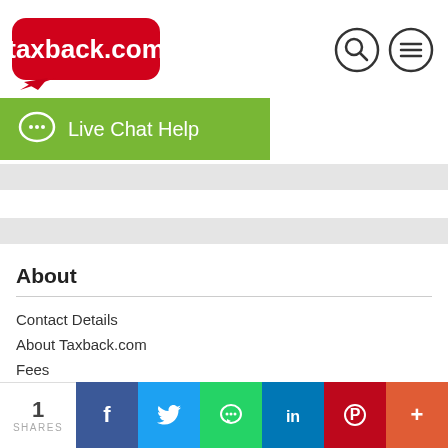[Figure (logo): taxback.com logo — red speech-bubble shape with white text]
[Figure (other): Search icon (magnifying glass) and menu icon (hamburger lines) in circles]
[Figure (other): Green Live Chat Help button with chat bubble icon]
About
Contact Details
About Taxback.com
Fees
Careers
[Figure (other): Social share bar: 1 SHARES count, Facebook, Twitter, WhatsApp, LinkedIn, Pinterest, More (+) buttons]